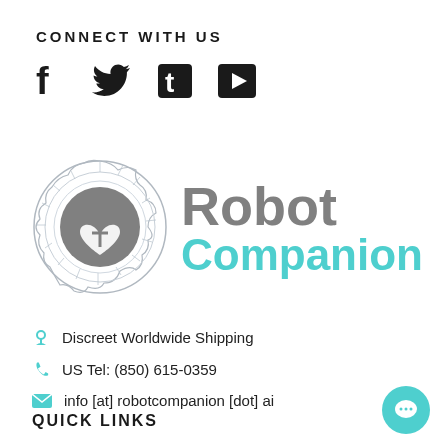CONNECT WITH US
[Figure (infographic): Social media icons: Facebook, Twitter, Tumblr, YouTube]
[Figure (logo): Robot Companion logo: circular gear/brain icon with heart, text 'Robot' in gray and 'Companion' in teal]
Discreet Worldwide Shipping
US Tel: (850) 615-0359
info [at] robotcompanion [dot] ai
QUICK LINKS